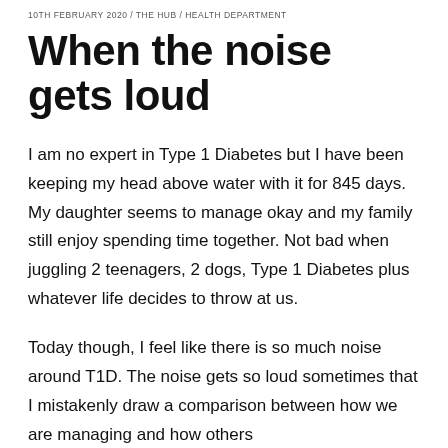10TH FEBRUARY 2020 / THE HUB / HEALTH DEPARTMENT
When the noise gets loud
I am no expert in Type 1 Diabetes but I have been keeping my head above water with it for 845 days. My daughter seems to manage okay and my family still enjoy spending time together. Not bad when juggling 2 teenagers, 2 dogs, Type 1 Diabetes plus whatever life decides to throw at us.
Today though, I feel like there is so much noise around T1D. The noise gets so loud sometimes that I mistakenly draw a comparison between how we are managing and how others